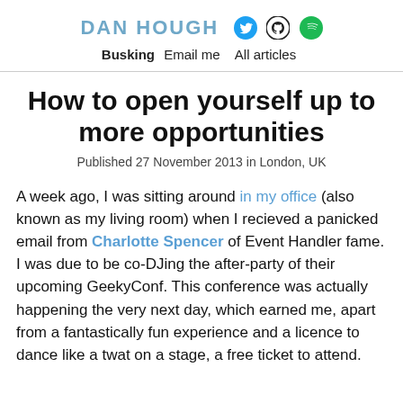DAN HOUGH [Twitter] [GitHub] [Spotify]
Busking  Email me  All articles
How to open yourself up to more opportunities
Published 27 November 2013 in London, UK
A week ago, I was sitting around in my office (also known as my living room) when I recieved a panicked email from Charlotte Spencer of Event Handler fame. I was due to be co-DJing the after-party of their upcoming GeekyConf. This conference was actually happening the very next day, which earned me, apart from a fantastically fun experience and a licence to dance like a twat on a stage, a free ticket to attend.